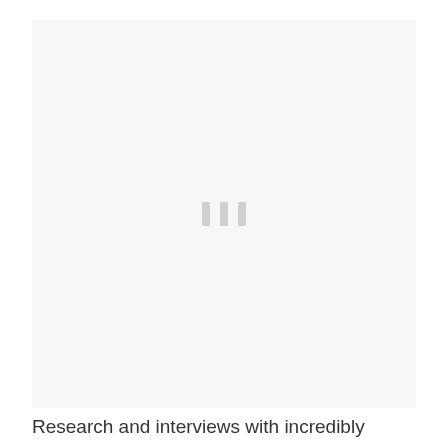[Figure (other): Large light gray placeholder image area with three small vertical gray bars/dots centered in the middle, indicating a loading or blank image state.]
Research and interviews with incredibly